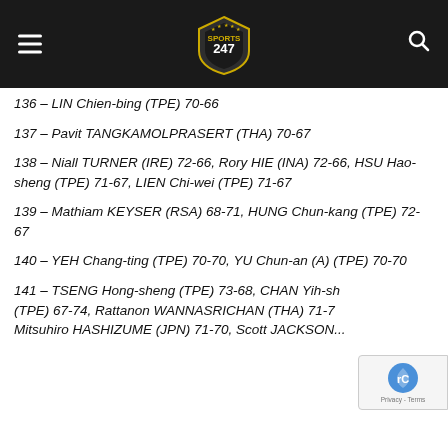Sports 247
136 – LIN Chien-bing (TPE) 70-66
137 – Pavit TANGKAMOLPRASERT (THA) 70-67
138 – Niall TURNER (IRE) 72-66, Rory HIE (INA) 72-66, HSU Hao-sheng (TPE) 71-67, LIEN Chi-wei (TPE) 71-67
139 – Mathiam KEYSER (RSA) 68-71, HUNG Chun-kang (TPE) 72-67
140 – YEH Chang-ting (TPE) 70-70, YU Chun-an (A) (TPE) 70-70
141 – TSENG Hong-sheng (TPE) 73-68, CHAN Yih-sh... (TPE) 67-74, Rattanon WANNASRICHAN (THA) 71-7..., Mitsuhiro HASHIZUME (JPN) 71-70, Scott JACKSON...